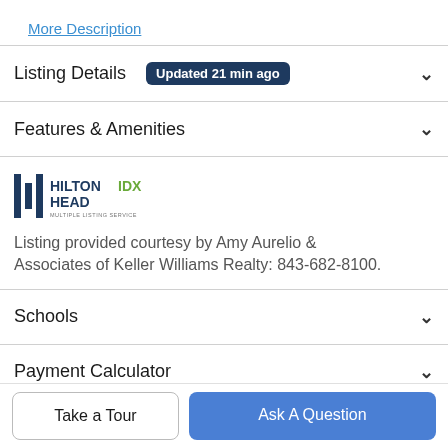More Description
Listing Details Updated 21 min ago
Features & Amenities
[Figure (logo): Hilton Head IDX Multiple Listing Service logo]
Listing provided courtesy by Amy Aurelio & Associates of Keller Williams Realty: 843-682-8100.
Schools
Payment Calculator
Take a Tour
Ask A Question